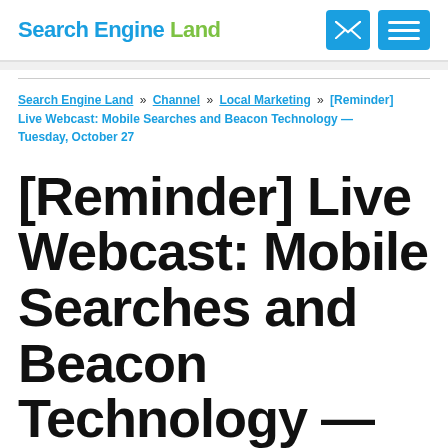Search Engine Land
Search Engine Land » Channel » Local Marketing » [Reminder] Live Webcast: Mobile Searches and Beacon Technology — Tuesday, October 27
[Reminder] Live Webcast: Mobile Searches and Beacon Technology — Tuesday, October 27